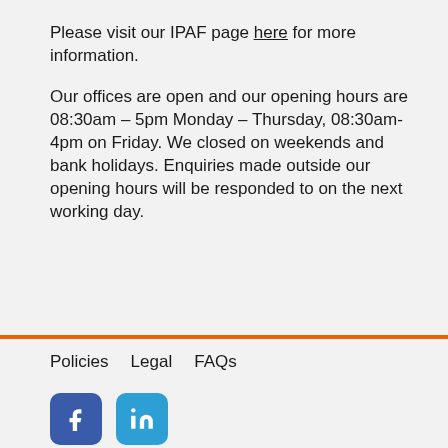Please visit our IPAF page here for more information.
Our offices are open and our opening hours are 08:30am – 5pm Monday – Thursday, 08:30am-4pm on Friday. We closed on weekends and bank holidays. Enquiries made outside our opening hours will be responded to on the next working day.
Policies   Legal   FAQs